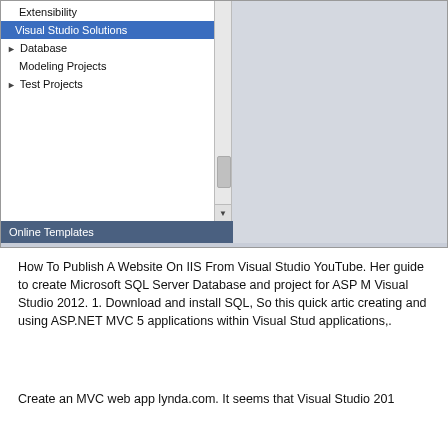[Figure (screenshot): Visual Studio New Project dialog showing a tree with Extensibility, Visual Studio Solutions (selected/highlighted in blue), Database, Modeling Projects, Test Projects items, an Online Templates section in a dark blue-gray bar, and form fields for Name (PortableAreaDemo), Location (C:\Users\mmoser\Documents\Visual Studio 2010\Proj...), and Solution name (PortableAreaDemo), with a dark footer bar at the bottom.]
How To Publish A Website On IIS From Visual Studio YouTube. Her guide to create Microsoft SQL Server Database and project for ASP M Visual Studio 2012. 1. Download and install SQL, So this quick artic creating and using ASP.NET MVC 5 applications within Visual Stud applications,.
Create an MVC web app lynda.com. It seems that Visual Studio 201